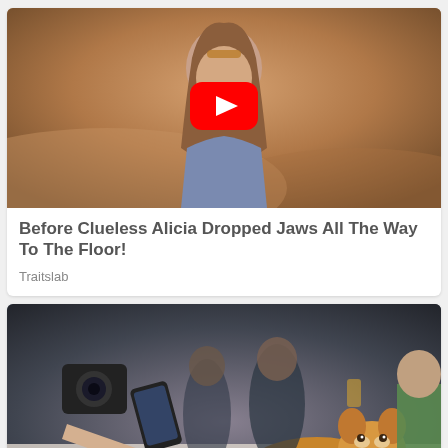[Figure (photo): Thumbnail of a young woman with long brown hair outdoors in a warm desert/dusty setting, with a YouTube play button overlaid in the center]
Before Clueless Alicia Dropped Jaws All The Way To The Floor!
Traitslab
[Figure (photo): People at a gathering petting a smiling Corgi dog; someone holds a camera and a phone photographing the dog]